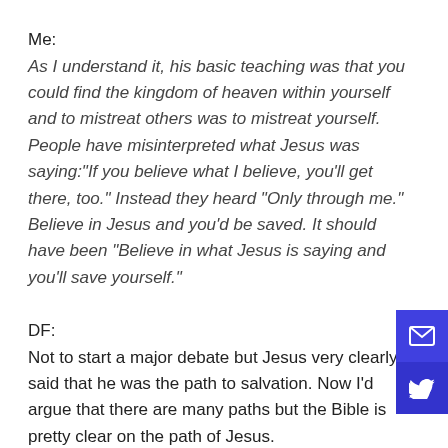Me:
As I understand it, his basic teaching was that you could find the kingdom of heaven within yourself and to mistreat others was to mistreat yourself. People have misinterpreted what Jesus was saying:"If you believe what I believe, you'll get there, too." Instead they heard “Only through me.” Believe in Jesus and you'd be saved. It should have been “Believe in what Jesus is saying and you'll save yourself.”
DF:
Not to start a major debate but Jesus very clearly said that he was the path to salvation. Now I’d argue that there are many paths but the Bible is pretty clear on the path of Jesus.
[Figure (other): Email share button (blue square with envelope icon)]
[Figure (other): Twitter share button (dark blue square with bird icon)]